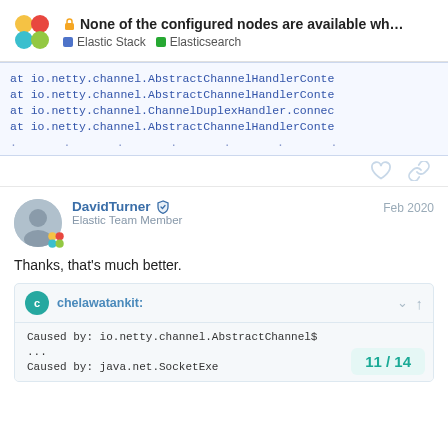None of the configured nodes are available wh... | Elastic Stack | Elasticsearch
at io.netty.channel.AbstractChannelHandlerConte
at io.netty.channel.AbstractChannelHandlerConte
at io.netty.channel.ChannelDuplexHandler.connec
at io.netty.channel.AbstractChannelHandlerConte
...
DavidTurner  Elastic Team Member   Feb 2020
Thanks, that's much better.
chelawatankit:
Caused by: io.netty.channel.AbstractChannel$
...
Caused by: java.net.SocketExe